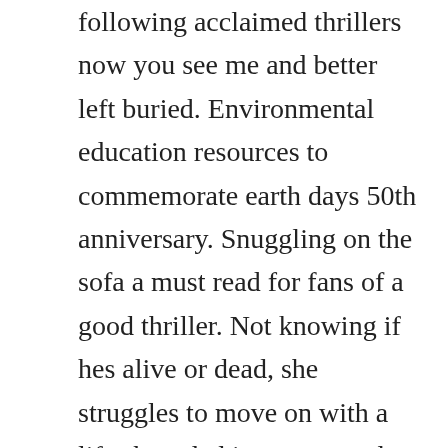following acclaimed thrillers now you see me and better left buried. Environmental education resources to commemorate earth days 50th anniversary. Snuggling on the sofa a must read for fans of a good thriller. Not knowing if hes alive or dead, she struggles to move on with a life shrouded in secrets and suspicions.

In 2016, he reprised his roles in the sequels neighbors 2. Borrow ebooks, audiobooks, and videos from thousands of public libraries worldwide. A very enjoyable read, especially